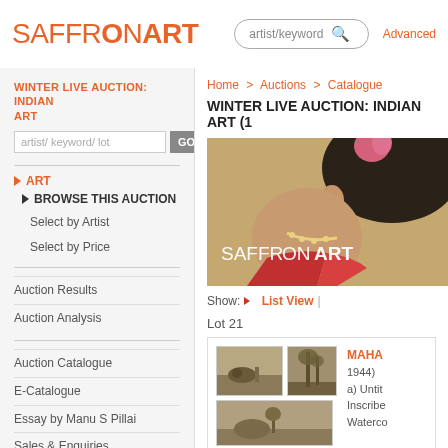[Figure (logo): SAFFRONART logo in orange, with SAFFRON lighter weight and ART bold]
artist/keyword
Advanced
WINTER LIVE AUCTION: INDIAN ART
artist/ keyword/ lot
ART
BROWSE THIS AUCTION
Select by Artist
Select by Price
Auction Results
Auction Analysis
Auction Catalogue
E-Catalogue
Essay by Manu S Pillai
Sales & Enquiries
FAQs
Conditions for Sale
Home > Auctions > Catalogue
WINTER LIVE AUCTION: INDIAN ART (1
[Figure (photo): Saffronart auction banner showing a painting of a woman's face profile with dark hair and jewelry, with SAFFRONART logo overlay in white]
Show: ▼ List View |
Lot 21
[Figure (photo): Two sepia/vintage photographs side by side: left shows animals and person in landscape, right shows tall palm trees]
MAHA
1944)
a) Untit Inscribe Waterco